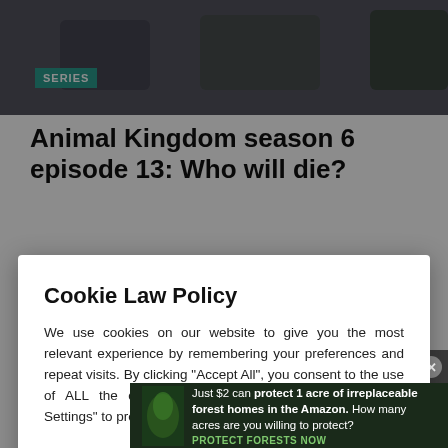[Figure (photo): Dark background image of people, with a teal SERIES badge overlay in the top-left area]
Animal Kingdom season 6 episode 13: Who will die?
Cookie Law Policy
We use cookies on our website to give you the most relevant experience by remembering your preferences and repeat visits. By clicking "Accept All", you consent to the use of ALL the cookies. However, you may visit "Cookie Settings" to provide a controlled consent.
Cookie Settings | Accept All
[Figure (screenshot): Video player showing 'No compatible source was found for this media.' with an X close button and large X icon]
[Figure (photo): Ad banner with forest/Amazon imagery and text: Just $2 can protect 1 acre of irreplaceable forest homes in the Amazon. How many acres are you willing to protect? PROTECT FORESTS NOW]